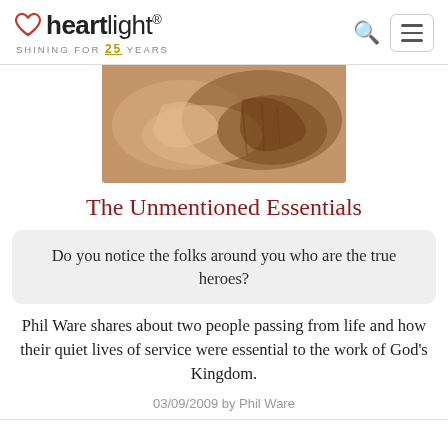heartlight® SHINING FOR 25 YEARS
[Figure (photo): Close-up of elderly hands, one person holding or touching another's hand, warm brown tones]
The Unmentioned Essentials
Do you notice the folks around you who are the true heroes?
Phil Ware shares about two people passing from life and how their quiet lives of service were essential to the work of God's Kingdom.
03/09/2009 by Phil Ware